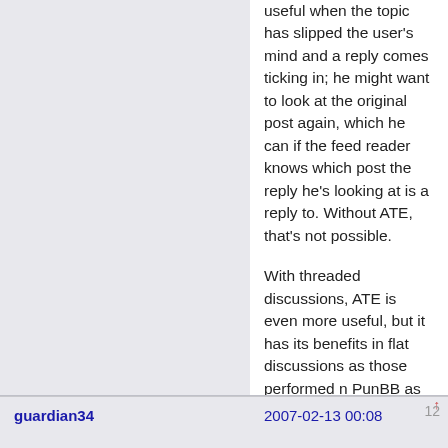useful when the topic has slipped the user's mind and a reply comes ticking in; he might want to look at the original post again, which he can if the feed reader knows which post the reply he's looking at is a reply to. Without ATE, that's not possible.

With threaded discussions, ATE is even more useful, but it has its benefits in flat discussions as those performed n PunBB as well. FYI, that RFC is as stable as it can get. It has its own RFC number (4685), which makes it "final" in the IETF. I don't have any statistics on how widely supported it is, but the more feeds that incorporate it, the more likely it is that we'll see feed readers implementing it as well. Being able to thread posts and replies is a much wanted feature in feed readers, so I assume that we'll see implementations popping up in the near future.
guardian34
2007-02-13 00:08